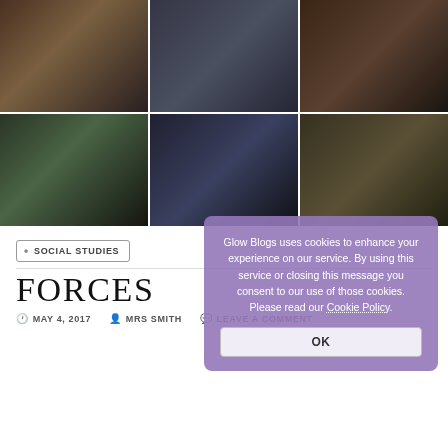[Figure (photo): 3x2 grid of classroom photos showing children sitting on floor with devices/books, one child holding a red toy camera]
SOCIAL STUDIES
Glow Blogs uses cookies to enhance your experience on our service. By using this service or closing this message you consent to our use of those cookies. Please read our Cookie Policy.
FORCES
MAY 4, 2017   MRS SMITH   LEAVE A COMMENT